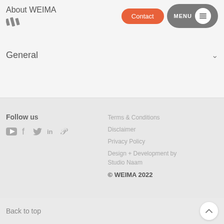About WEIMA
General
Follow us
Terms & Conditions
Disclaimer
Privacy Policy
Design + Development by Studio Naam
© WEIMA 2022
Back to top